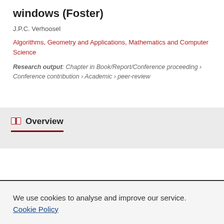windows (Foster)
J.P.C. Verhoosel
Algorithms, Geometry and Applications, Mathematics and Computer Science
Research output: Chapter in Book/Report/Conference proceeding › Conference contribution › Academic › peer-review
Overview
Original language
We use cookies to analyse and improve our service. Cookie Policy